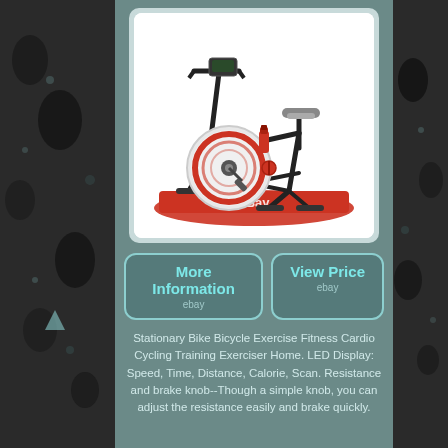[Figure (photo): Stationary exercise/spinning bike with black frame, white flywheel, red water bottle holder, red floor mat, displayed on eBay listing]
[Figure (infographic): Two eBay buttons side by side: 'More Information ebay' and 'View Price ebay' with rounded rectangle borders in teal color]
Stationary Bike Bicycle Exercise Fitness Cardio Cycling Training Exerciser Home. LED Display: Speed, Time, Distance, Calorie, Scan. Resistance and brake knob--Though a simple knob, you can adjust the resistance easily and brake quickly.